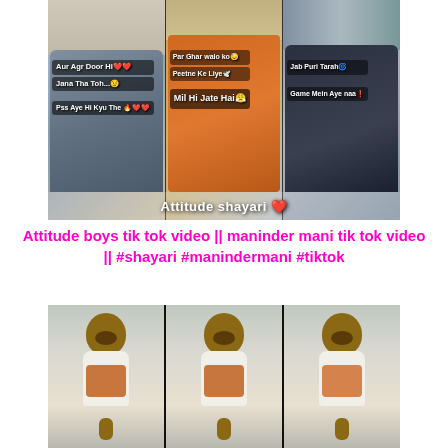[Figure (photo): Collage of three panels showing young men with Hindi/Urdu attitude shayari text overlays: 'Aur Agr Door Hi Jana Tha Toh... Pss Aye Hi Kyu The', 'Par Ghar walo ko Peetne Ke Liye Mil Hi Jate Hai', 'Jab Puri Tarah Game Mein Aye naa', with 'Attitude shayari ❤️' banner at bottom]
Attitude boys tik tok video || maninder mani tik tok video || #shayari #manindermani #tiktok
[Figure (photo): Three-panel photo of the same young man (dark complexion, mustache, wearing white shirt with orange/red scarf, giving thumbs up) repeated three times side by side against a light outdoor background]